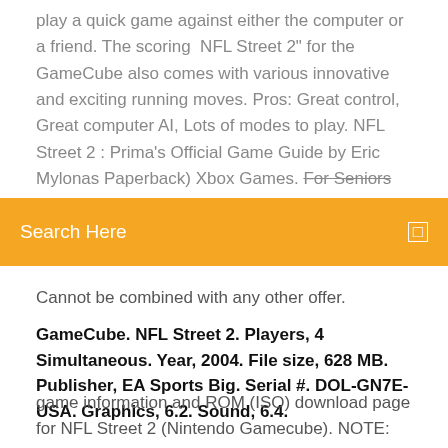play a quick game against either the computer or a friend. The scoring  NFL Street 2" for the GameCube also comes with various innovative and exciting running moves. Pros: Great control, Great computer AI, Lots of modes to play. NFL Street 2 : Prima's Official Game Guide by Eric Mylonas Paperback) Xbox Games. For Seniors Referral: 5299996536 Tekken 5 Download
Search Here
Cannot be combined with any other offer.
GameCube. NFL Street 2. Players, 4 Simultaneous. Year, 2004. File size, 628 MB. Publisher, EA Sports Big. Serial #. DOL-GN7E-USA. Graphics, 6.2. Sound, 6.4.
game information and ROM (ISO) download page for NFL Street 2 (Nintendo Gamecube). NOTE: Play this ISO on your PC by using a compatible emulator. Download the NFL Street 2 ROM for GameCube . Filename: NFL Street 2 (USA).7z. Works with Android, Windows, and Mac OS X devices. Download NFL Stree